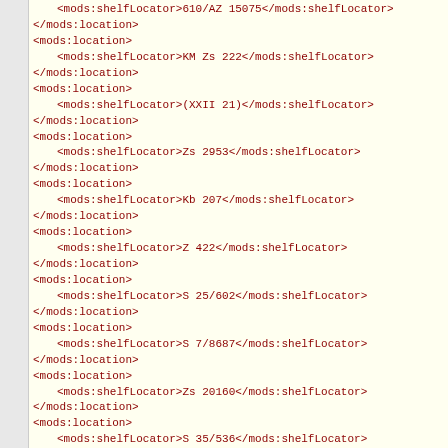XML code snippet showing mods:location and mods:shelfLocator elements with values: 610/AZ 15075, KM Zs 222, (XXII 21), Zs 2953, Kb 207, Z 422, S 25/602, S 7/8687, Zs 20160, S 35/536, Af I c 670, s. zugehörige Publikationen, @4° 4 ZA 27, Az 8, 68 A 682, and another mods:location